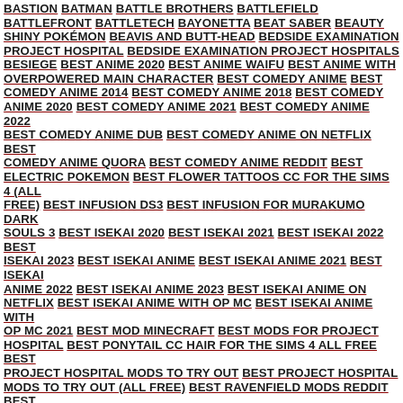BASTION   BATMAN   BATTLE BROTHERS   BATTLEFIELD BATTLEFRONT   BATTLETECH   BAYONETTA   BEAT SABER   BEAUTY SHINY POKÉMON   BEAVIS AND BUTT-HEAD   BEDSIDE EXAMINATION PROJECT HOSPITAL   BEDSIDE EXAMINATION PROJECT HOSPITALS   BESIEGE   BEST ANIME 2020   BEST ANIME WAIFU   BEST ANIME WITH OVERPOWERED MAIN CHARACTER   BEST COMEDY ANIME   BEST COMEDY ANIME 2014   BEST COMEDY ANIME 2018   BEST COMEDY ANIME 2020   BEST COMEDY ANIME 2021   BEST COMEDY ANIME 2022   BEST COMEDY ANIME DUB   BEST COMEDY ANIME ON NETFLIX   BEST COMEDY ANIME QUORA   BEST COMEDY ANIME REDDIT   BEST ELECTRIC POKEMON   BEST FLOWER TATTOOS CC FOR THE SIMS 4 (ALL FREE)   BEST INFUSION DS3   BEST INFUSION FOR MURAKUMO DARK SOULS 3   BEST ISEKAI 2020   BEST ISEKAI 2021   BEST ISEKAI 2022   BEST ISEKAI 2023   BEST ISEKAI ANIME   BEST ISEKAI ANIME 2021   BEST ISEKAI ANIME 2022   BEST ISEKAI ANIME 2023   BEST ISEKAI ANIME ON NETFLIX   BEST ISEKAI ANIME WITH OP MC   BEST ISEKAI ANIME WITH OP MC 2021   BEST MOD MINECRAFT   BEST MODS FOR PROJECT HOSPITAL   BEST PONYTAIL CC HAIR FOR THE SIMS 4 ALL FREE   BEST PROJECT HOSPITAL MODS TO TRY OUT   BEST PROJECT HOSPITAL MODS TO TRY OUT (ALL FREE)   BEST RAVENFIELD MODS REDDIT   BEST REINCARNATION ANIME   BEST ROMANCE ANIME   BEST ROMANCE ANIME 2020   BEST ROMANCE ANIME 2021   BEST ROMANCE ANIME 2022   BEST ROMANCE ANIME 2023   BEST ROMANCE ANIME MOVIES   BEST ROMANCE ANIME ON CRUNCHYROLL   BEST ROMANCE ANIME ON FUNIMATION   BEST ROMANCE ANIME ON NETFLIX 2020   BEST ROMANCE ANIME ON NETFLIX 2021   BEST ROMANCE ANIME ON NETFLIX 2022   BEST ROMANCE ANIME ON NETFLIX 2023   BEST ROMANCE ANIME RIGHT NOW   BEST ROMANCE ANIMES   BEST ROMANCE ANIMES ON NETFLIX   BEST ROMANTIC ANIME SERIES TO WATCH   BEST SHINY GHOST   BEST SHINY GHOST-TYPE POKÉMON   BEST SHINY POKEMON 2021   BEST SHINY POKEMON 2022   BEST SHINY POKEMON EACH GENERATION   BEST SHINY POKÉMON FROM EACH